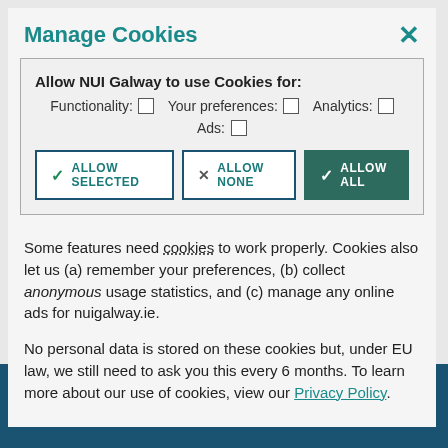Manage Cookies
[Figure (screenshot): Cookie consent modal dialog for NUI Galway website with options to allow selected, allow none, or allow all cookies]
Allow NUI Galway to use Cookies for: Functionality: ☐ Your preferences: ☐ Analytics: ☐ Ads: ☐
Some features need cookies to work properly. Cookies also let us (a) remember your preferences, (b) collect anonymous usage statistics, and (c) manage any online ads for nuigalway.ie.
No personal data is stored on these cookies but, under EU law, we still need to ask you this every 6 months. To learn more about our use of cookies, view our Privacy Policy.
GET DIRECTIONS   SEND US AN EMAIL